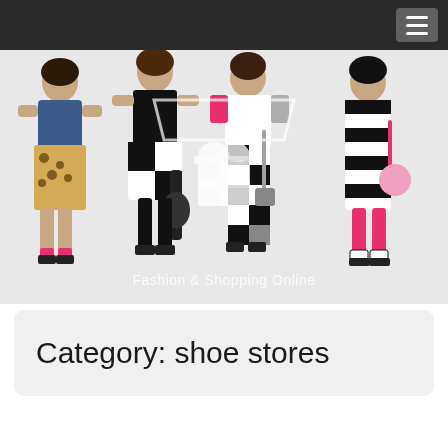[Figure (photo): Hero banner image showing four girls in colorful, eclectic fashion outfits (leopard print dress with denim vest, black/white checkered skirt with graphic tee, striped top with checkered leggings, striped dress with pink accessories) against a white background. A gift box icon and 'Fashion & Shopping Online' text are overlaid on the center of the image. A dark navigation bar with hamburger menu icon is at the top.]
Category: shoe stores